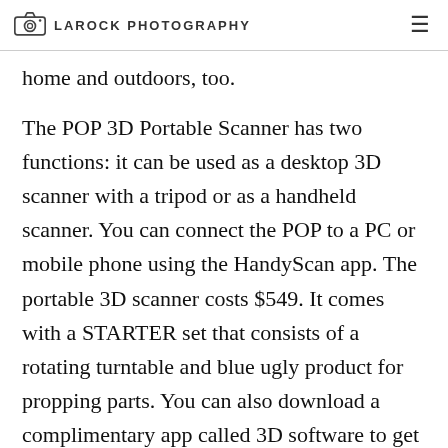LAROCK PHOTOGRAPHY
home and outdoors, too.
The POP 3D Portable Scanner has two functions: it can be used as a desktop 3D scanner with a tripod or as a handheld scanner. You can connect the POP to a PC or mobile phone using the HandyScan app. The portable 3D scanner costs $549. It comes with a STARTER set that consists of a rotating turntable and blue ugly product for propping parts. You can also download a complimentary app called 3D software to get going.